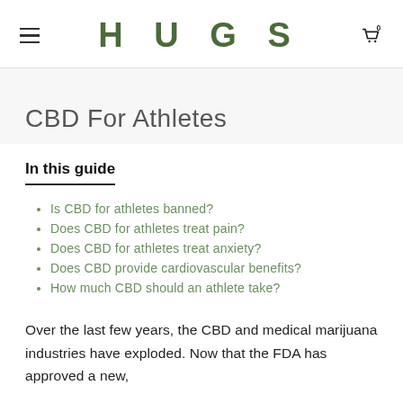HUGS
CBD For Athletes
In this guide
Is CBD for athletes banned?
Does CBD for athletes treat pain?
Does CBD for athletes treat anxiety?
Does CBD provide cardiovascular benefits?
How much CBD should an athlete take?
Over the last few years, the CBD and medical marijuana industries have exploded. Now that the FDA has approved a new,